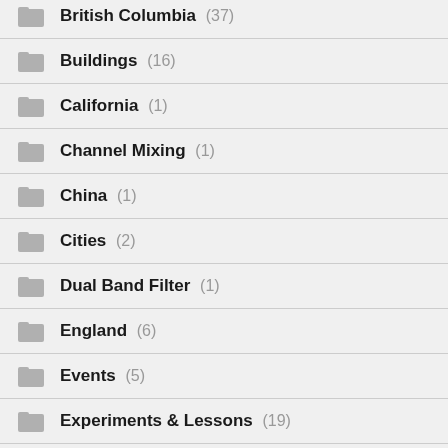British Columbia (37)
Buildings (16)
California (1)
Channel Mixing (1)
China (1)
Cities (2)
Dual Band Filter (1)
England (6)
Events (5)
Experiments & Lessons (19)